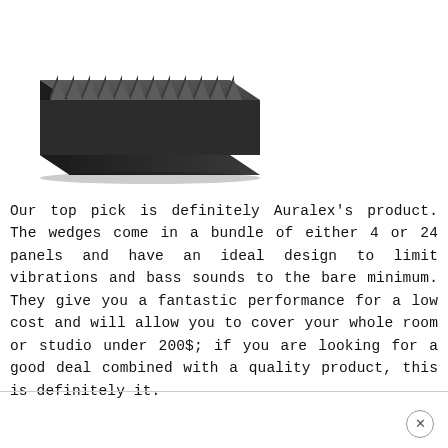[Figure (photo): Photo of a dark charcoal acoustic foam wedge panel viewed from a slight angle above, showing the triangular wedge profile pattern across the surface.]
Our top pick is definitely Auralex's product. The wedges come in a bundle of either 4 or 24 panels and have an ideal design to limit vibrations and bass sounds to the bare minimum. They give you a fantastic performance for a low cost and will allow you to cover your whole room or studio under 200$; if you are looking for a good deal combined with a quality product, this is definitely it.